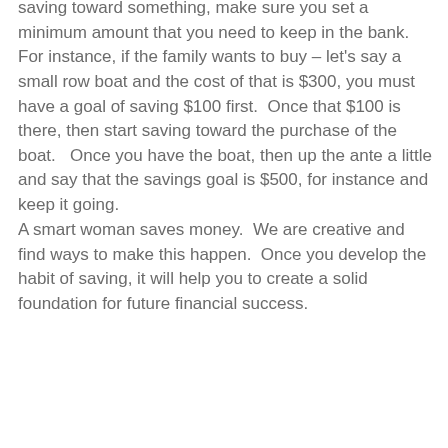saving toward something, make sure you set a minimum amount that you need to keep in the bank.  For instance, if the family wants to buy – let's say a small row boat and the cost of that is $300, you must have a goal of saving $100 first.  Once that $100 is there, then start saving toward the purchase of the boat.   Once you have the boat, then up the ante a little and say that the savings goal is $500, for instance and keep it going.
A smart woman saves money.  We are creative and find ways to make this happen.  Once you develop the habit of saving, it will help you to create a solid foundation for future financial success.